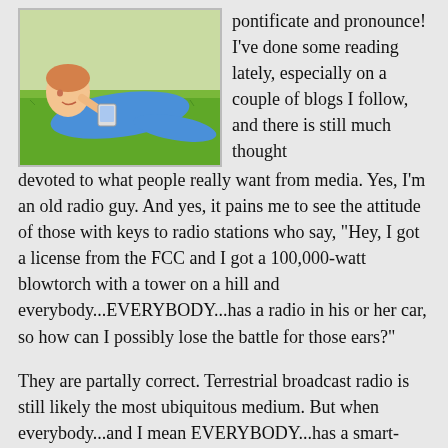[Figure (photo): A woman lying on grass, smiling, holding a small device (phone/camera), wearing a blue top.]
pontificate and pronounce! I've done some reading lately, especially on a couple of blogs I follow, and there is still much thought devoted to what people really want from media. Yes, I'm an old radio guy. And yes, it pains me to see the attitude of those with keys to radio stations who say, "Hey, I got a license from the FCC and I got a 100,000-watt blowtorch with a tower on a hill and everybody...EVERYBODY...has a radio in his or her car, so how can I possibly lose the battle for those ears?"

They are partally correct. Terrestrial broadcast radio is still likely the most ubiquitous medium. But when everybody...and I mean EVERYBODY...has a smart-phone on his or her hip, and that will plug into the dashboard of their car and their TV set at home and the computer at work, that will no longer be even remotely true. That development alone means audio and video anytime the user wants it. With